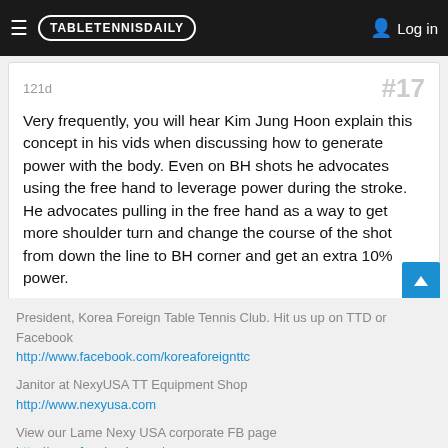TABLETENNISDAILY  Log in
121d   #17
Very frequently, you will hear Kim Jung Hoon explain this concept in his vids when discussing how to generate power with the body. Even on BH shots he advocates using the free hand to leverage power during the stroke. He advocates pulling in the free hand as a way to get more shoulder turn and change the course of the shot from down the line to BH corner and get an extra 10% power.
President, Korea Foreign Table Tennis Club. Hit us up on TTD or Facebook
http://www.facebook.com/koreaforeignttc
Janitor at NexyUSA TT Equipment Shop
http://www.nexyusa.com
View our Lame Nexy USA corporate FB page
http://www.facebook.com/nexyusa